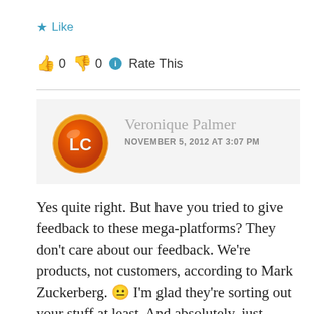★ Like
👍 0 👎 0 ℹ Rate This
Veronique Palmer
NOVEMBER 5, 2012 AT 3:07 PM
Yes quite right. But have you tried to give feedback to these mega-platforms? They don't care about our feedback. We're products, not customers, according to Mark Zuckerberg. 😐 I'm glad they're sorting out your stuff at least. And absolutely, just trusting online storage may